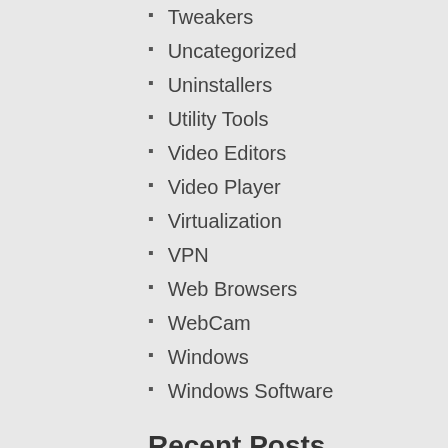Tweakers
Uncategorized
Uninstallers
Utility Tools
Video Editors
Video Player
Virtualization
VPN
Web Browsers
WebCam
Windows
Windows Software
Recent Posts
Virtual DJ Pro 2023 Build 7093 Crack + Keygen Free Download
UVK Ultra Virus Killer 11.6.1.0 Crack +